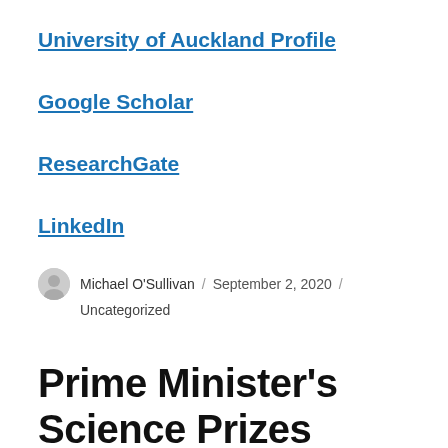University of Auckland Profile
Google Scholar
ResearchGate
LinkedIn
Michael O'Sullivan / September 2, 2020 / Uncategorized
Prime Minister's Science Prizes